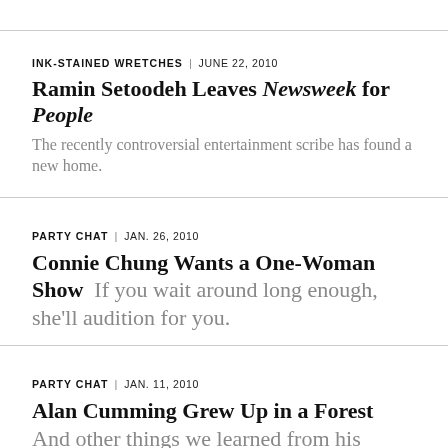INK-STAINED WRETCHES | JUNE 22, 2010
Ramin Setoodeh Leaves Newsweek for People
The recently controversial entertainment scribe has found a new home.
PARTY CHAT | JAN. 26, 2010
Connie Chung Wants a One-Woman Show
If you wait around long enough, she'll audition for you.
PARTY CHAT | JAN. 11, 2010
Alan Cumming Grew Up in a Forest
And other things we learned from his 'Times' Talk this weekend.